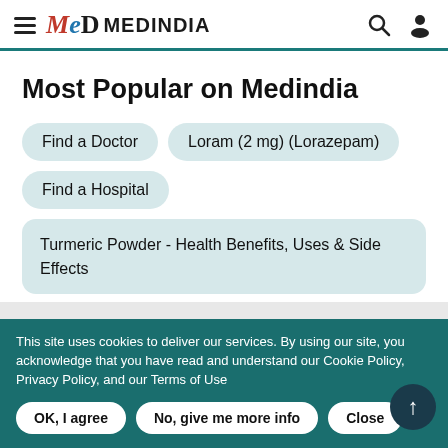MeD MEDINDIA
Most Popular on Medindia
Find a Doctor
Loram (2 mg) (Lorazepam)
Find a Hospital
Turmeric Powder - Health Benefits, Uses & Side Effects
Sanatogen
This site uses cookies to deliver our services. By using our site, you acknowledge that you have read and understand our Cookie Policy, Privacy Policy, and our Terms of Use
OK, I agree | No, give me more info | Close